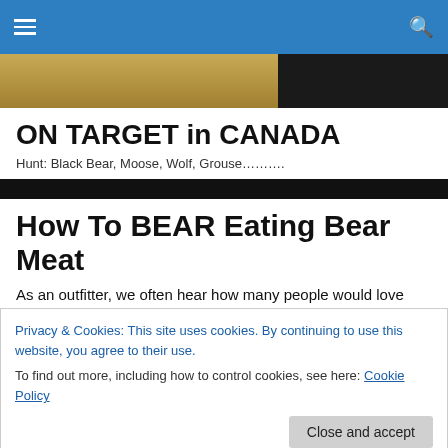ON TARGET in CANADA — navigation header
[Figure (photo): Partial hero image showing a silhouetted figure on the left (warm tan background) and dark background on the right]
ON TARGET in CANADA
Hunt: Black Bear, Moose, Wolf, Grouse………..
How To BEAR Eating Bear Meat
As an outfitter, we often hear how many people would love
Privacy & Cookies: This site uses cookies. By continuing to use this website, you agree to their use.
To find out more, including how to control cookies, see here: Cookie Policy
Close and accept
Below is an excerpt from a great story written by Jackson